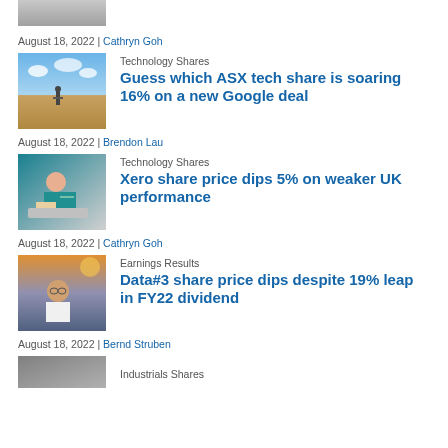[Figure (photo): Partial photo at top of page, cropped]
August 18, 2022 | Cathryn Goh
[Figure (photo): Person with backpack in field under blue sky]
Technology Shares
Guess which ASX tech share is soaring 16% on a new Google deal
August 18, 2022 | Brendon Lau
[Figure (photo): Man sitting at desk looking at laptop, thinking]
Technology Shares
Xero share price dips 5% on weaker UK performance
August 18, 2022 | Cathryn Goh
[Figure (photo): Man with glasses in front of dark background]
Earnings Results
Data#3 share price dips despite 19% leap in FY22 dividend
August 18, 2022 | Bernd Struben
[Figure (photo): Partial photo at bottom, Industrials Shares category visible]
Industrials Shares